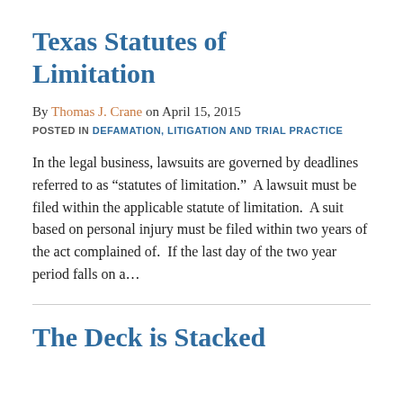Texas Statutes of Limitation
By Thomas J. Crane on April 15, 2015
POSTED IN DEFAMATION, LITIGATION AND TRIAL PRACTICE
In the legal business, lawsuits are governed by deadlines referred to as “statutes of limitation.”  A lawsuit must be filed within the applicable statute of limitation.  A suit based on personal injury must be filed within two years of the act complained of.  If the last day of the two year period falls on a…
The Deck is Stacked